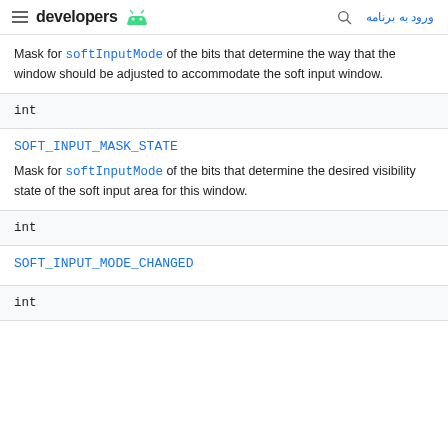developers [android logo] [search icon] ورود به برنامه
Mask for softInputMode of the bits that determine the way that the window should be adjusted to accommodate the soft input window.
int
SOFT_INPUT_MASK_STATE
Mask for softInputMode of the bits that determine the desired visibility state of the soft input area for this window.
int
SOFT_INPUT_MODE_CHANGED
int